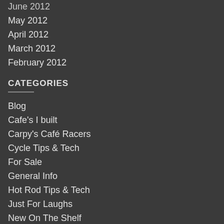June 2012
May 2012
April 2012
March 2012
February 2012
CATEGORIES
Blog
Cafe's I built
Carpy's Café Racers
Cycle Tips & Tech
For Sale
General Info
Hot Rod Tips & Tech
Just For Laughs
New On The Shelf
Old What's His Name:
Readers Picks